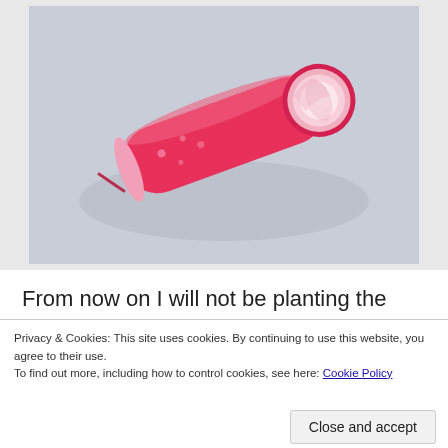[Figure (photo): A cylindrical radish (Cherry Belle variety) cut to show cross-section, lying on a light grey surface. The radish exterior is bright red/pink, interior is white.]
From now on I will not be planting the round variety of radish such as Cherry Belle in future as I've had
Privacy & Cookies: This site uses cookies. By continuing to use this website, you agree to their use.
To find out more, including how to control cookies, see here: Cookie Policy
Close and accept